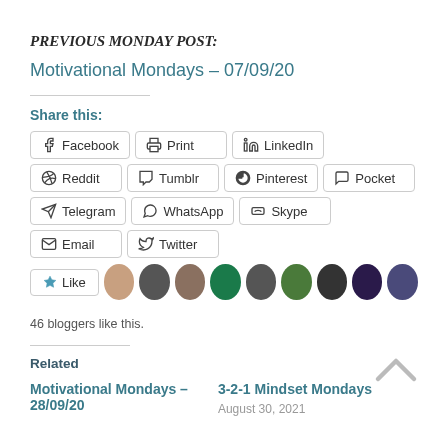PREVIOUS MONDAY POST:
Motivational Mondays – 07/09/20
Share this:
Facebook
Print
LinkedIn
Reddit
Tumblr
Pinterest
Pocket
Telegram
WhatsApp
Skype
Email
Twitter
Like
46 bloggers like this.
Related
Motivational Mondays – 28/09/20
3-2-1 Mindset Mondays
August 30, 2021